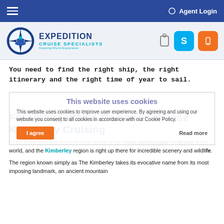Agent Login
[Figure (logo): Expedition Cruise Specialists logo with compass and ship icon]
You need to find the right ship, the right itinerary and the right time of year to sail.
This website uses cookies
This website uses cookies to improve user experience. By agreeing and using our website you consent to all cookies in accordance with our Cookie Policy.
I agree   Read more
For Unforgettable Memories choose Kimberley Cruising
It has to be said that Australia has some of the most spectacular locations in the world, and the Kimberley region is right up there for incredible scenery and wildlife.
The region known simply as The Kimberley takes its evocative name from its most imposing landmark, an ancient mountain